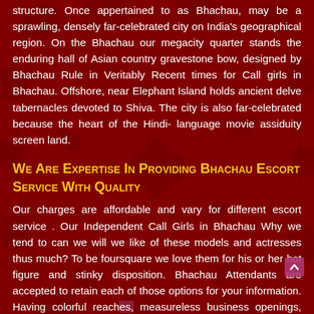structure. Once appertained to as Bhachau, may be a sprawling, densely far-celebrated city on India's geographical region. On the Bhachau our megacity quarter stands the enduring hall of Asian country gravestone bow, designed by Bhachau Rule in Veritably Recent times for Call girls in Bhachau. Offshore, near Elephant Island holds ancient delve tabernacles devoted to Shiva. The city is also far-celebrated because the heart of the Hindi- language movie assiduity screen land.
We Are Expertise In Providing Bhachau Escort Service With Quality
Our charges are affordable and vary for different escort service . Our Independent Call Girls in Bhachau Why we tend to can we will we like of these models and actresses thus much? To be foursquare we love them for his or her hot figure and stinky disposition. Bhachau Attendants are accepted to retain each of those options for your information. Having colorful reaches, measureless business openings, and bountiful rubberneck lodestones, an enormous range of individualities return then on